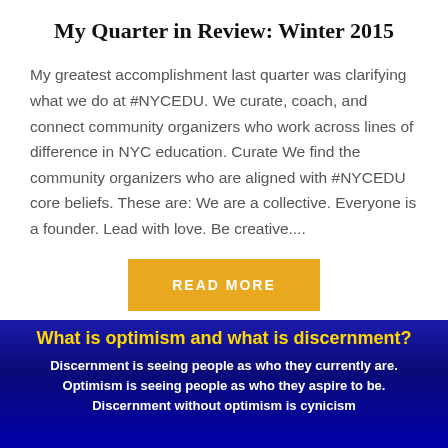My Quarter in Review: Winter 2015
My greatest accomplishment last quarter was clarifying what we do at #NYCEDU. We curate, coach, and connect community organizers who work across lines of difference in NYC education. Curate We find the community organizers who are aligned with #NYCEDU core beliefs. These are: We are a collective. Everyone is a founder. Lead with love. Be creative....
READ MORE
What is optimism and what is discernment?
Discernment is seeing people as who they currently are. Optimism is seeing people as who they aspire to be. Discernment without optimism is cynicism